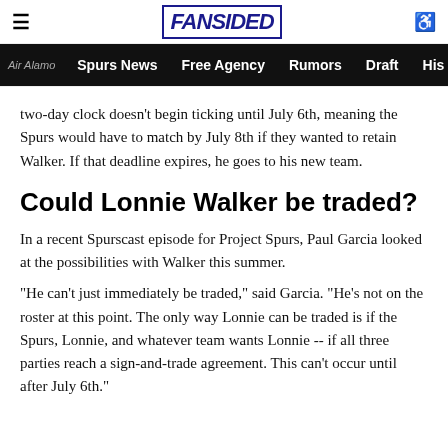FanSided — Spurs News | Free Agency | Rumors | Draft | His
two-day clock doesn't begin ticking until July 6th, meaning the Spurs would have to match by July 8th if they wanted to retain Walker. If that deadline expires, he goes to his new team.
Could Lonnie Walker be traded?
In a recent Spurscast episode for Project Spurs, Paul Garcia looked at the possibilities with Walker this summer.
"He can't just immediately be traded," said Garcia. "He's not on the roster at this point. The only way Lonnie can be traded is if the Spurs, Lonnie, and whatever team wants Lonnie -- if all three parties reach a sign-and-trade agreement. This can't occur until after July 6th."